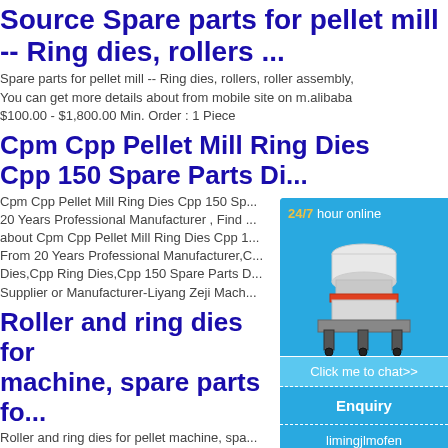Source Spare parts for pellet mill -- Ring dies, rollers ...
Spare parts for pellet mill -- Ring dies, rollers, roller assembly, You can get more details about from mobile site on m.alibaba $100.00 - $1,800.00 Min. Order : 1 Piece
Cpm Cpp Pellet Mill Ring Dies Cpp 150 Spare Parts Di...
Cpm Cpp Pellet Mill Ring Dies Cpp 150 Sp... 20 Years Professional Manufacturer , Find ... about Cpm Cpp Pellet Mill Ring Dies Cpp 1... From 20 Years Professional Manufacturer,C... Dies,Cpp Ring Dies,Cpp 150 Spare Parts D... Supplier or Manufacturer-Liyang Zeji Mach...
[Figure (illustration): Chat widget with crusher machine image, '24/7 hour online' label, 'Click me to chat>>' button, 'Enquiry' section, and 'limingjlmofen' username]
Roller and ring dies for machine, spare parts fo...
Roller and ring dies for pellet machine, spa... machine, You can get more details about fr...